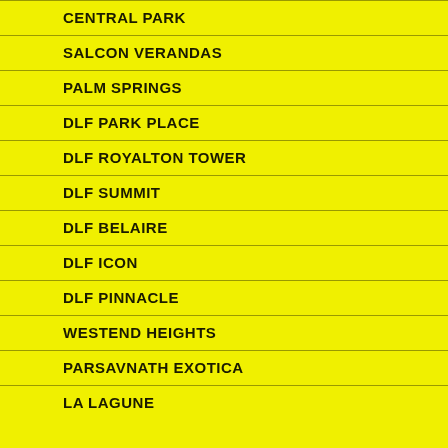CENTRAL PARK
SALCON VERANDAS
PALM SPRINGS
DLF PARK PLACE
DLF ROYALTON TOWER
DLF SUMMIT
DLF BELAIRE
DLF ICON
DLF PINNACLE
WESTEND HEIGHTS
PARSAVNATH EXOTICA
LA LAGUNE